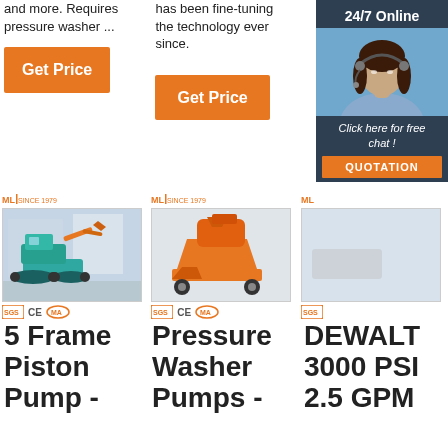and more. Requires pressure washer ...
has been fine-tuning the technology ever since.
[Figure (infographic): 24/7 Online chat widget with woman wearing headset, click here for free chat, QUOTATION button]
Get Price
Get Price
[Figure (photo): ML Since 1979 logo with mini excavator product photo, CE and certification badges]
[Figure (photo): ML Since 1979 logo with orange concrete mixer/construction machine product photo, CE and certification badges]
[Figure (photo): ML logo partially visible with another machine, partially covered by chat widget]
5 Frame Piston Pump -
Pressure Washer Pumps -
DEWALT 3000 PSI 2.5 GPM